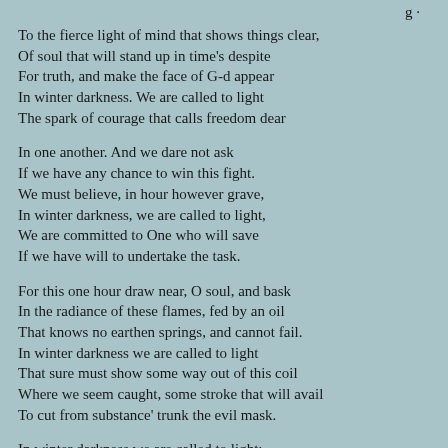To the fierce light of mind that shows things clear,
Of soul that will stand up in time's despite
For truth, and make the face of G-d appear
In winter darkness.  We are called to light
The spark of courage that calls freedom dear
In one another.  And we dare not ask
If we have any chance to win this fight.
We must believe, in hour however grave,
In winter darkness, we are called to light,
We are committed to One who will save
If we have will to undertake the task.
For this one hour draw near, O soul, and bask
In the radiance of these flames, fed by an oil
That knows no earthen springs, and cannot fail.
In winter darkness we are called to light
That sure must show some way out of this coil
Where we seem caught, some stroke that will avail
To cut from substance' trunk the evil mask.
In winter darkness we are called to light:
To Intuition, drawing from the source,
To Understanding, that can plot a course,